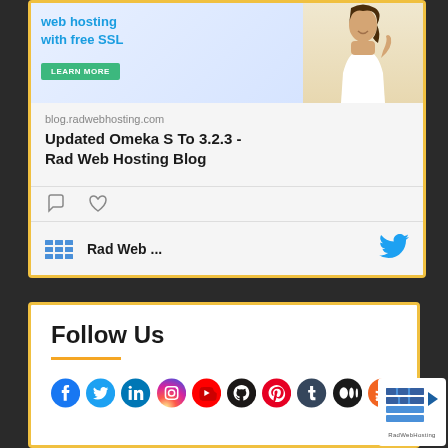[Figure (screenshot): Social media card preview showing a web hosting ad with image of woman, URL blog.radwebhosting.com, title 'Updated Omeka S To 3.2.3 - Rad Web Hosting Blog', comment/like icons, and a footer bar with Rad Web ... logo and Twitter bird icon]
blog.radwebhosting.com
Updated Omeka S To 3.2.3 - Rad Web Hosting Blog
Follow Us
[Figure (infographic): Row of social media icons: Facebook, Twitter, LinkedIn, Instagram, YouTube, GitHub, Pinterest, Tumblr, Medium, RSS]